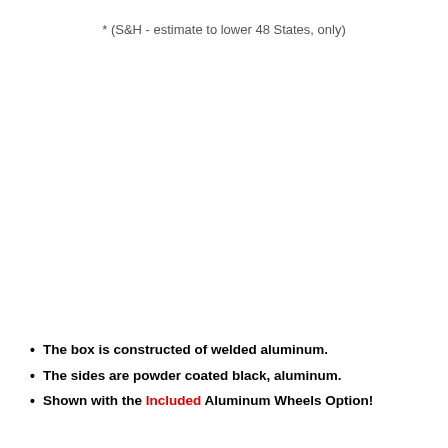* (S&H - estimate to lower 48 States, only)
The box is constructed of welded aluminum.
The sides are powder coated black, aluminum.
Shown with the Included Aluminum Wheels Option!